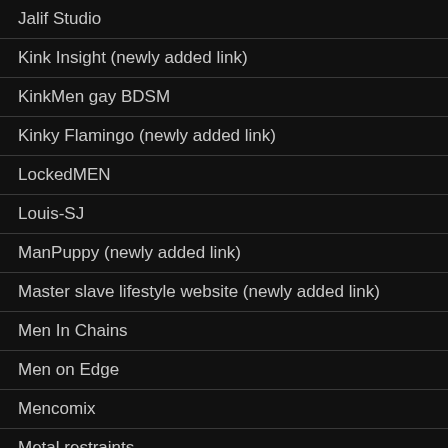Jalif Studio
Kink Insight (newly added link)
KinkMen gay BDSM
Kinky Flamingo (newly added link)
LockedMEN
Louis-SJ
ManPuppy (newly added link)
Master slave lifestyle website (newly added link)
Men In Chains
Men on Edge
Mencomix
Metal restraints
Metalbond Tumblr